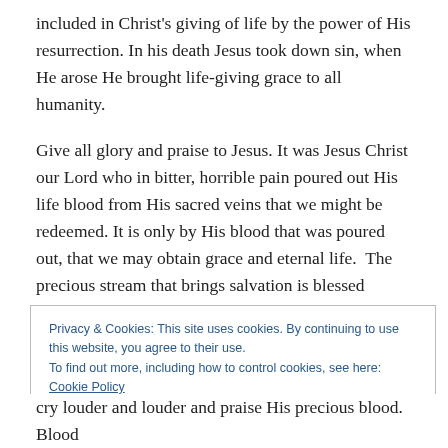included in Christ's giving of life by the power of His resurrection. In his death Jesus took down sin, when He arose He brought life-giving grace to all humanity.
Give all glory and praise to Jesus. It was Jesus Christ our Lord who in bitter, horrible pain poured out His life blood from His sacred veins that we might be redeemed. It is only by His blood that was poured out, that we may obtain grace and eternal life.  The precious stream that brings salvation is blessed through endless ages, and redeems the world from pain, suffering and torment.
Privacy & Cookies: This site uses cookies. By continuing to use this website, you agree to their use. To find out more, including how to control cookies, see here: Cookie Policy
cry louder and louder and praise His precious blood. Blood